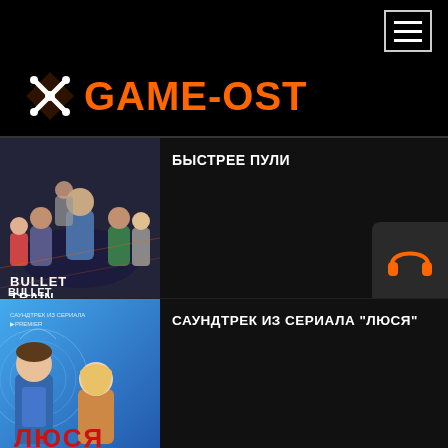GAME-OST — navigation menu
[Figure (logo): GAME-OST logo with orange text and white cross/asterisk icon on black background]
[Figure (photo): Bullet Train movie poster — БЫСТРЕЕ ПУЛИ (faster than a bullet). Shows cast members and bold 'BULLET TRAIN' lettering with action style.]
БЫСТРЕЕ ПУЛИ
[Figure (photo): Люся (Lusya) TV series poster — САУНДТРЕК ИЗ СЕРИАЛА "ЛЮСЯ" from PREMIER. Shows two characters on blue background with red ЛЮСЯ title text.]
САУНДТРЕК ИЗ СЕРИАЛА "ЛЮСЯ"